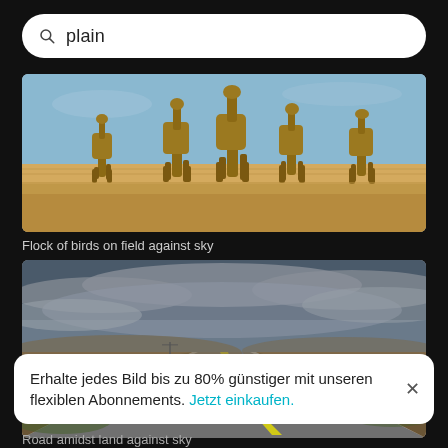plain
[Figure (photo): Group of giraffes walking across a dry golden grassy plain with blue sky above]
Flock of birds on field against sky
[Figure (photo): Empty straight road through flat open plains under cloudy sky, perspective view]
Erhalte jedes Bild bis zu 80% günstiger mit unseren flexiblen Abonnements. Jetzt einkaufen.
Road amidst land against sky